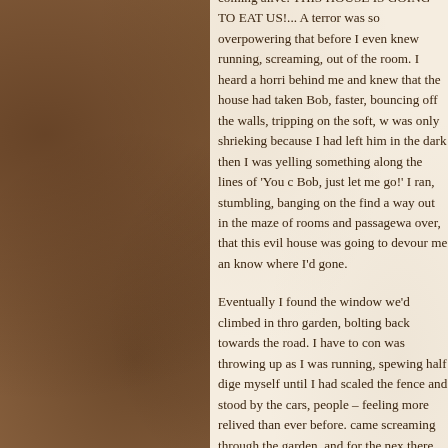coming alive. THIS HOUSE IS GOING TO EAT US!... A terror was so overpowering that before I even knew running, screaming, out of the room. I heard a horri behind me and knew that the house had taken Bob, faster, bouncing off the walls, tripping on the soft, w was only shrieking because I had left him in the dark then I was yelling something along the lines of 'You c Bob, just let me go!' I ran, stumbling, banging on the find a way out in the maze of rooms and passagewa over, that this evil house was going to devour me an know where I'd gone.
Eventually I found the window we'd climbed in thro garden, bolting back towards the road. I have to con was throwing up as I was running, spewing half dige myself until I had scaled the fence and stood by the cars, people – feeling more relived than ever before. came screaming through the garden, and for the nex there panting, sobbing, covered in tears and snot. O that he hadn't been sick over himself, and I was so c failed in my new job, but I wasn't even as brave as m believed that for about five minutes until I realized th he had seed himself.